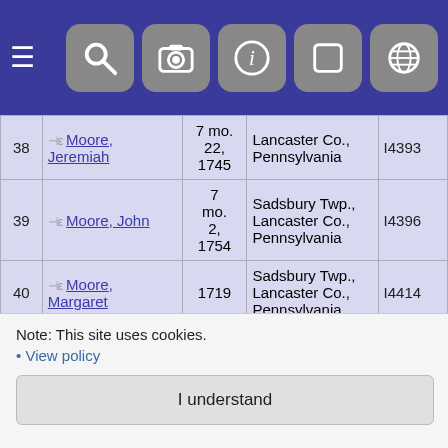Navigation bar with hamburger menu and icons
| # | Name | Date | Place | ID |
| --- | --- | --- | --- | --- |
| 38 | Moore, Jeremiah | 7 mo. 22, 1745 | Lancaster Co., Pennsylvania | I4393 |
| 39 | Moore, John | 7 mo. 2, 1754 | Sadsbury Twp., Lancaster Co., Pennsylvania | I4396 |
| 40 | Moore, Margaret | 1719 | Sadsbury Twp., Lancaster Co., Pennsylvania | I4414 |
| 41 | Moore, Mary | 1718 | Sadsbury Twp., Lancaster Co., Pennsylvania | I4412 |
Note: This site uses cookies.
• View policy
I understand